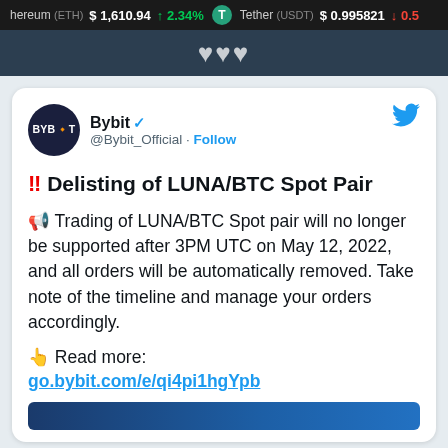Ethereum (ETH) $1,610.94 ↑2.34% Tether (USDT) $0.995821 ↓0.5
Bybit @Bybit_Official · Follow
‼ Delisting of LUNA/BTC Spot Pair
📢 Trading of LUNA/BTC Spot pair will no longer be supported after 3PM UTC on May 12, 2022, and all orders will be automatically removed. Take note of the timeline and manage your orders accordingly.
👉 Read more: go.bybit.com/e/qi4pi1hgYpb